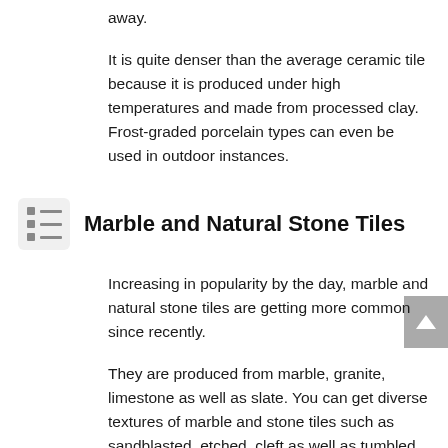away.
It is quite denser than the average ceramic tile because it is produced under high temperatures and made from processed clay. Frost-graded porcelain types can even be used in outdoor instances.
Marble and Natural Stone Tiles
Increasing in popularity by the day, marble and natural stone tiles are getting more common since recently.
They are produced from marble, granite, limestone as well as slate. You can get diverse textures of marble and stone tiles such as sandblasted, etched, cleft as well as tumbled.